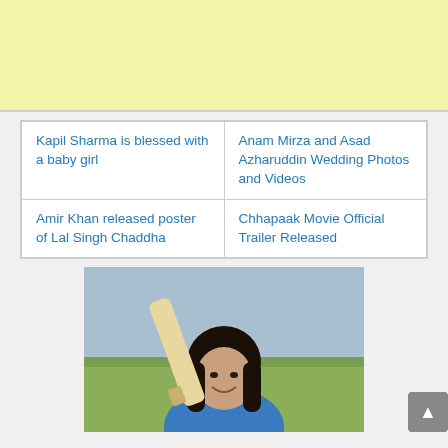[Figure (other): Yellow advertisement banner at top of page]
| Kapil Sharma is blessed with a baby girl | Anam Mirza and Asad Azharuddin Wedding Photos and Videos |
| Amir Khan released poster of Lal Singh Chaddha | Chhapaak Movie Official Trailer Released |
[Figure (photo): Woman with long dark hair holding a cricket bat, smiling, outdoors with green background]